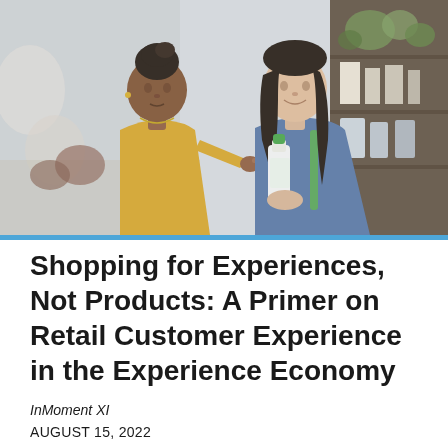[Figure (photo): Two women in a retail store looking at a product bottle. One woman has dark skin, hair in a bun, wearing a yellow top; the other has long dark hair, wearing a denim shirt. They are examining a bottle with a green cap.]
Shopping for Experiences, Not Products: A Primer on Retail Customer Experience in the Experience Economy
InMoment XI
AUGUST 15, 2022